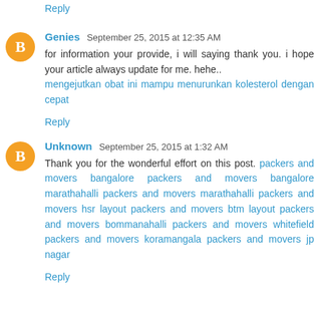Reply
Genies September 25, 2015 at 12:35 AM
for information your provide, i will saying thank you. i hope your article always update for me. hehe.. mengejutkan obat ini mampu menurunkan kolesterol dengan cepat
Reply
Unknown September 25, 2015 at 1:32 AM
Thank you for the wonderful effort on this post. packers and movers bangalore packers and movers bangalore marathahalli packers and movers marathahalli packers and movers hsr layout packers and movers btm layout packers and movers bommanahalli packers and movers whitefield packers and movers koramangala packers and movers jp nagar
Reply